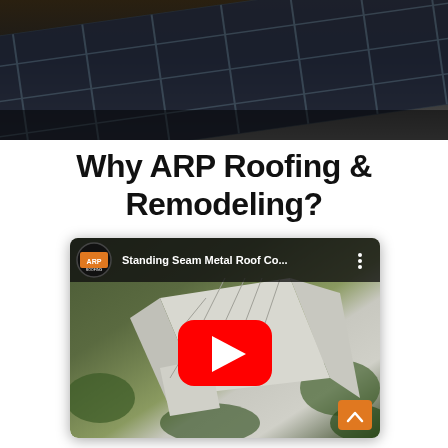[Figure (photo): Close-up aerial photo of solar panels on a dark rooftop surface]
Why ARP Roofing & Remodeling?
[Figure (screenshot): YouTube video thumbnail showing aerial view of a house with standing seam metal roof. Video title: 'Standing Seam Metal Roof Co...' with ARP Roofing & Remodeling logo, YouTube play button overlay, and three-dot menu icon.]